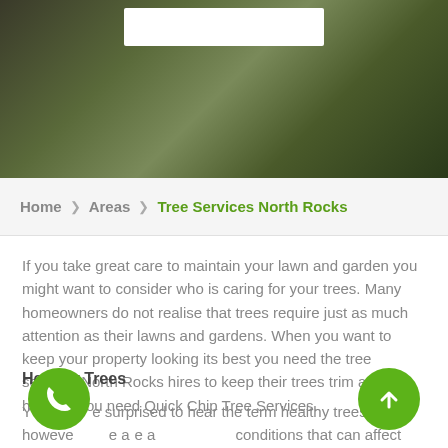[Figure (photo): Hero image showing tree service workers trimming trees, with a white box overlay in the center top]
Home  ❯  Areas  ❯  Tree Services North Rocks
If you take great care to maintain your lawn and garden you might want to consider who is caring for your trees. Many homeowners do not realise that trees require just as much attention as their lawns and gardens. When you want to keep your property looking its best you need the tree services North Rocks hires to keep their trees trim and healthy. You need Quick Chip Tree Services.
Healthy Trees
You may be surprised to hear the term healthy trees, however there are a number of conditions that can affect the strength and integrity of the trees on your property. Your trees may appear perfectly fine,